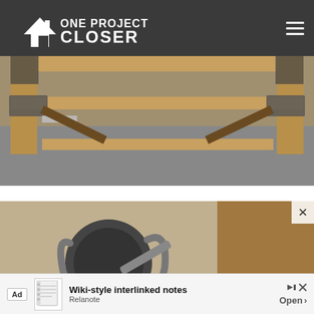One Project Closer
[Figure (photo): Wooden workbench frame with metal corner brackets and lower shelf, viewed from below, in a workshop setting.]
[Figure (photo): Close-up of a heavy-duty caster wheel with locking mechanism attached to a wooden workbench leg.]
[Figure (other): Advertisement banner: Wiki-style interlinked notes, Relanote, Open button. Ad label and notepad icon visible.]